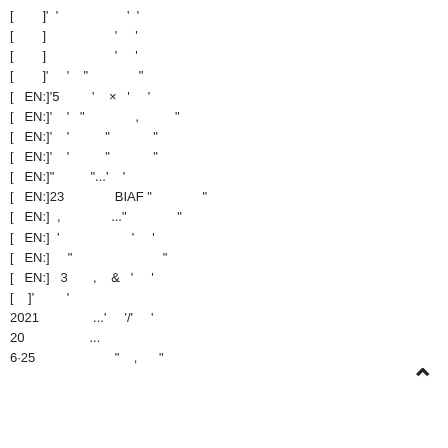[        ]'  '                   '  '
[        ]                   '     '
[        ]                   '     '
[        ]'     '    "              "
[   EN:]'5         '    ×   '     '
[   EN:]'    '   "              ,          "
[   EN:]'    '          "            "
[   EN:]'    '          "            "
[   EN:]"          "...'    '
[   EN:]23              BIAF "              "
[   EN:]  ,              ..."              "
[   EN:]  '                    '     '
[   EN:]     "                         "
[   EN:]   3       ,    &   '     '
[    ]'         '
2021               ...'     '/'     '
20                  ...
6·25                      "    ,      "